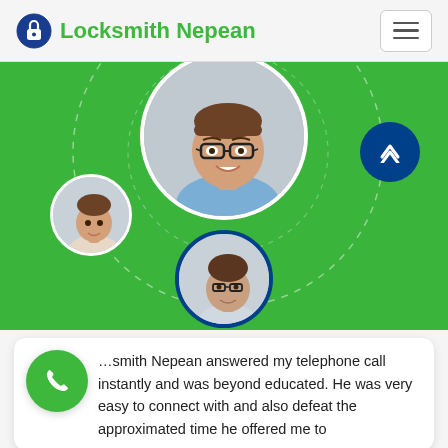Locksmith Nepean
[Figure (photo): Green banner with three circular profile photos of men arranged in a network/team layout, with a dashed circle arc connecting them. A dark blue circular up-arrow button is in the upper right.]
Locksmith Nepean answered my telephone call instantly and was beyond educated. He was very easy to connect with and also defeat the approximated time he offered me to